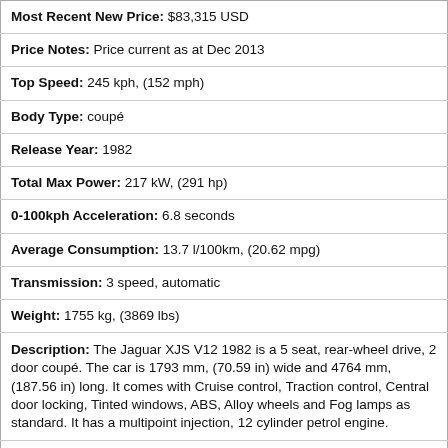Most Recent New Price: $83,315 USD
Price Notes: Price current as at Dec 2013
Top Speed: 245 kph, (152 mph)
Body Type: coupé
Release Year: 1982
Total Max Power: 217 kW, (291 hp)
0-100kph Acceleration: 6.8 seconds
Average Consumption: 13.7 l/100km, (20.62 mpg)
Transmission: 3 speed, automatic
Weight: 1755 kg, (3869 lbs)
Description: The Jaguar XJS V12 1982 is a 5 seat, rear-wheel drive, 2 door coupé. The car is 1793 mm, (70.59 in) wide and 4764 mm, (187.56 in) long. It comes with Cruise control, Traction control, Central door locking, Tinted windows, ABS, Alloy wheels and Fog lamps as standard. It has a multipoint injection, 12 cylinder petrol engine.
[Figure (map): Map thumbnail showing a road/location indicator on a light blue background]